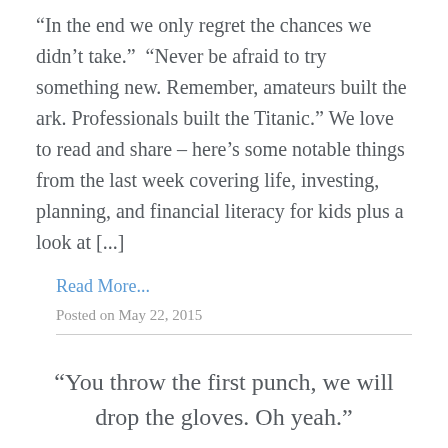“In the end we only regret the chances we didn’t take.”  “Never be afraid to try something new. Remember, amateurs built the ark. Professionals built the Titanic.” We love to read and share – here’s some notable things from the last week covering life, investing, planning, and financial literacy for kids plus a look at [...]
Read More...
Posted on May 22, 2015
“You throw the first punch, we will drop the gloves. Oh yeah.”
I remember a series of Tim Horton’s TV ads about